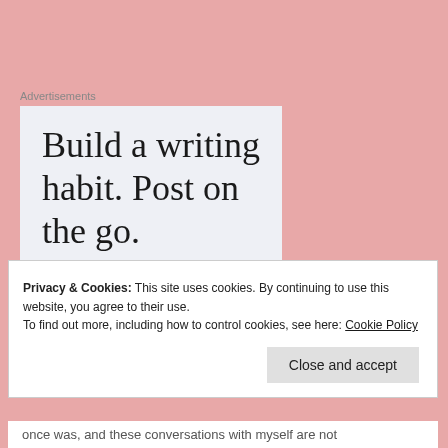Advertisements
[Figure (screenshot): WordPress advertisement banner with text 'Build a writing habit. Post on the go.' and a 'GET THE APP' call-to-action button with WordPress logo]
Privacy & Cookies: This site uses cookies. By continuing to use this website, you agree to their use.
To find out more, including how to control cookies, see here: Cookie Policy
Close and accept
once was, and these conversations with myself are not